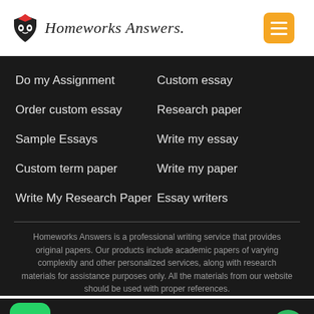Homeworks Answers.
Do my Assignment
Custom essay
Order custom essay
Research paper
Sample Essays
Write my essay
Custom term paper
Write my paper
Write My Research Paper
Essay writers
Homeworks Answers is a professional writing service that provides original papers. Our products include academic papers of varying complexity and other personalized services, along with research materials for assistance purposes only. All the materials from our website should be used with proper references.